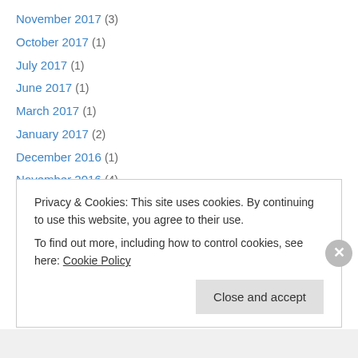November 2017 (3)
October 2017 (1)
July 2017 (1)
June 2017 (1)
March 2017 (1)
January 2017 (2)
December 2016 (1)
November 2016 (4)
October 2016 (1)
August 2016 (1)
July 2016 (11)
June 2016 (5)
March 2016 (1)
Privacy & Cookies: This site uses cookies. By continuing to use this website, you agree to their use. To find out more, including how to control cookies, see here: Cookie Policy